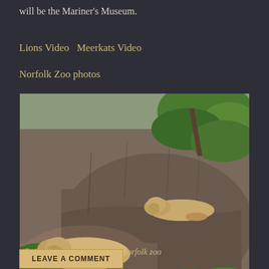will be the Mariner's Museum.
Lions Video  Meerkats Video
Norfolk Zoo photos
[Figure (photo): Two lions (lionesses) resting on large rocks in a zoo enclosure, with green trees visible in the background. One lion rests on a lower rock in the foreground, another on a higher ledge in the background.]
♦ Daily News   ♦ holiday   # Norfolk zoo
LEAVE A COMMENT